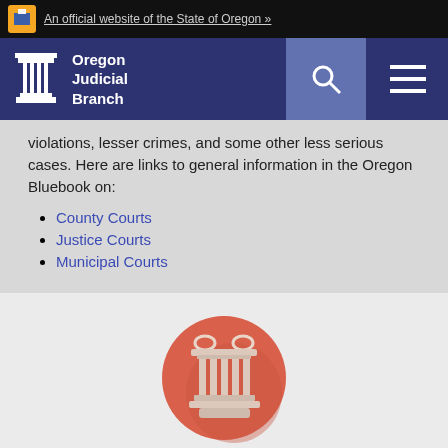An official website of the State of Oregon »
[Figure (logo): Oregon Judicial Branch logo with column icon and text]
violations, lesser crimes, and some other less serious cases. Here are links to general information in the Oregon Bluebook on:
County Courts
Justice Courts
Municipal Courts
[Figure (illustration): Red/coral circle with white column/pillar icon]
Federal & Tribal Courts